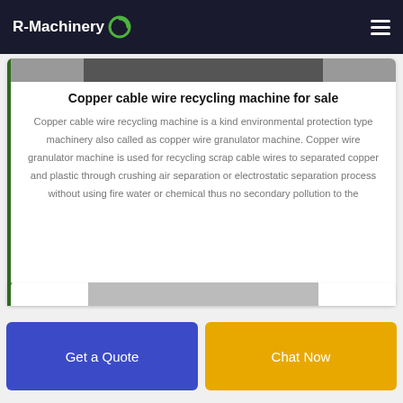R-Machinery
[Figure (photo): Partial view of a copper cable wire recycling machine in a card layout]
Copper cable wire recycling machine for sale
Copper cable wire recycling machine is a kind environmental protection type machinery also called as copper wire granulator machine. Copper wire granulator machine is used for recycling scrap cable wires to separated copper and plastic through crushing air separation or electrostatic separation process without using fire water or chemical thus no secondary pollution to the
[Figure (photo): Partial view of a second product card at the bottom of the page]